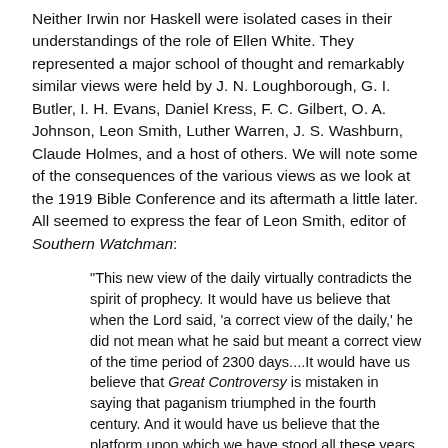Neither Irwin nor Haskell were isolated cases in their understandings of the role of Ellen White. They represented a major school of thought and remarkably similar views were held by J. N. Loughborough, G. I. Butler, I. H. Evans, Daniel Kress, F. C. Gilbert, O. A. Johnson, Leon Smith, Luther Warren, J. S. Washburn, Claude Holmes, and a host of others. We will note some of the consequences of the various views as we look at the 1919 Bible Conference and its aftermath a little later. All seemed to express the fear of Leon Smith, editor of Southern Watchman:
"This new view of the daily virtually contradicts the spirit of prophecy. It would have us believe that when the Lord said, 'a correct view of the daily,' he did not mean what he said but meant a correct view of the time period of 2300 days....It would have us believe that Great Controversy is mistaken in saying that paganism triumphed in the fourth century. And it would have us believe that the platform upon which we have stood all these years, and which has stood the test against all assaults from without, is not so firm as is stated in 'Early Writings,' and that it now needs to be patched up. And the Lord only knows how many others, if encouraged now by leading men among us, will rise up later and find new places where the old platform needs changing over. It is all calculated to weaken and